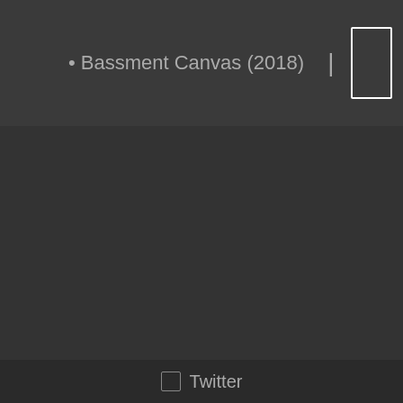• Bassment Canvas (2018)
Twitter